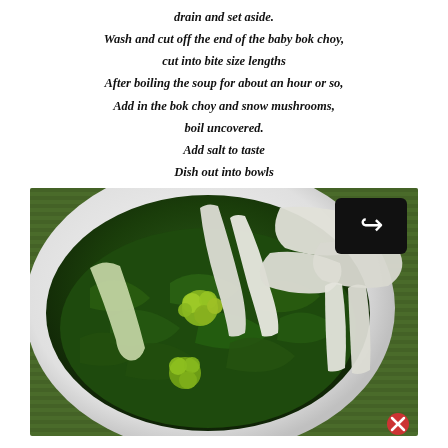drain and set aside.
Wash and cut off the end of the baby bok choy,
cut into bite size lengths
After boiling the soup for about an hour or so,
Add in the bok choy and snow mushrooms,
boil uncovered.
Add salt to taste
Dish out into bowls
Serve hot.
[Figure (photo): A white bowl of soup containing dark green leafy vegetables (bok choy), white mushrooms, in a broth. The bowl sits on a green bamboo mat. A black share button with a white arrow icon is overlaid in the top right. A close/cancel icon appears at the bottom right.]